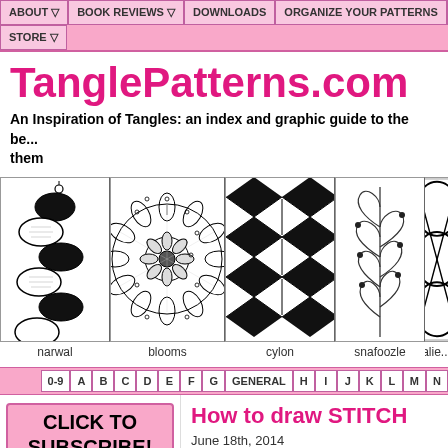ABOUT | BOOK REVIEWS | DOWNLOADS | ORGANIZE YOUR PATTERNS | SUB... | STORE
TanglePatterns.com
An Inspiration of Tangles: an index and graphic guide to the be... them
[Figure (photo): Five tangle pattern images: narwal, blooms, cylon, snafoozle, alie...]
0-9 A B C D E F G GENERAL H I J K L M N
[Figure (infographic): CLICK TO SUBSCRIBE! ~ it's free ~]
[Figure (logo): Zentangle® logo]
How to draw STITCH
June 18th, 2014
[Figure (photo): Thumbnail image of STITCH tangle pattern]
Online instructions... Including cool vari...
Continue reading